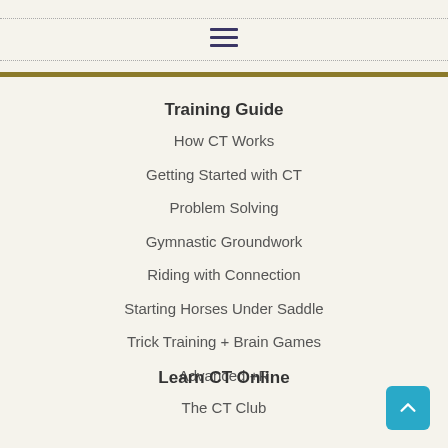≡
Training Guide
How CT Works
Getting Started with CT
Problem Solving
Gymnastic Groundwork
Riding with Connection
Starting Horses Under Saddle
Trick Training + Brain Games
Advanced +R
Learn CT Online
The CT Club